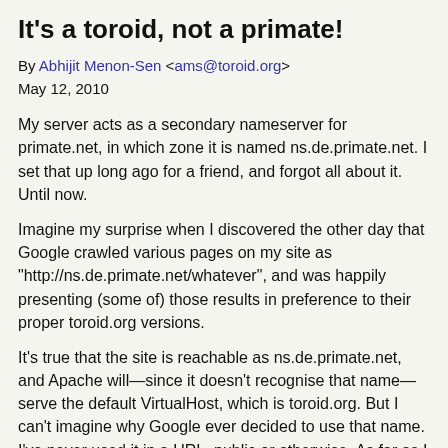It's a toroid, not a primate!
By Abhijit Menon-Sen <ams@toroid.org>
May 12, 2010
My server acts as a secondary nameserver for primate.net, in which zone it is named ns.de.primate.net. I set that up long ago for a friend, and forgot all about it. Until now.
Imagine my surprise when I discovered the other day that Google crawled various pages on my site as "http://ns.de.primate.net/whatever", and was happily presenting (some of) those results in preference to their proper toroid.org versions.
It's true that the site is reachable as ns.de.primate.net, and Apache will—since it doesn't recognise that name—serve the default VirtualHost, which is toroid.org. But I can't imagine why Google ever decided to use that name. I've never used it in a URL, public or otherwise. As far as I know, it has only ever been used for anything between nameservers for